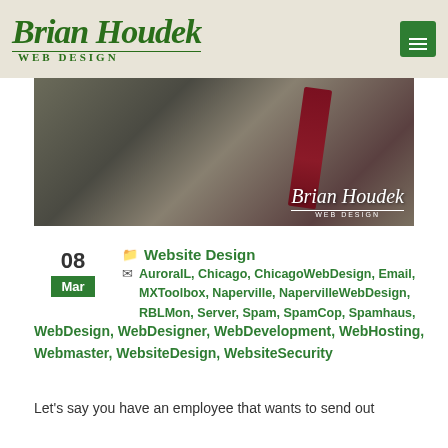Brian Houdek WEB DESIGN
[Figure (photo): Hero photo of a man in white shirt and dark red tie working at a desk, with Brian Houdek Web Design logo overlay in bottom right]
08
Mar
Website Design
AuroraIL, Chicago, ChicagoWebDesign, Email, MXToolbox, Naperville, NapervilleWebDesign, RBLMon, Server, Spam, SpamCop, Spamhaus, WebDesign, WebDesigner, WebDevelopment, WebHosting, Webmaster, WebsiteDesign, WebsiteSecurity
Let's say you have an employee that wants to send out